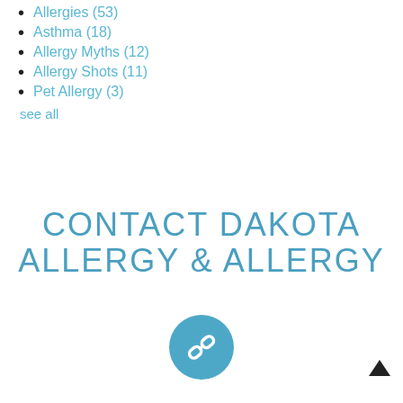Allergies (53)
Asthma (18)
Allergy Myths (12)
Allergy Shots (11)
Pet Allergy (3)
see all
CONTACT DAKOTA ALLERGY & ALLERGY
[Figure (illustration): Circular blue icon with chain link symbol]